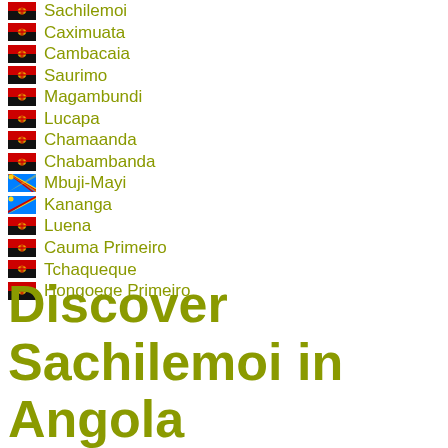Sachilemoi
Caximuata
Cambacaia
Saurimo
Magambundi
Lucapa
Chamaanda
Chabambanda
Mbuji-Mayi
Kananga
Luena
Cauma Primeiro
Tchaqueque
Hongoege Primeiro
Discover Sachilemoi in Angola